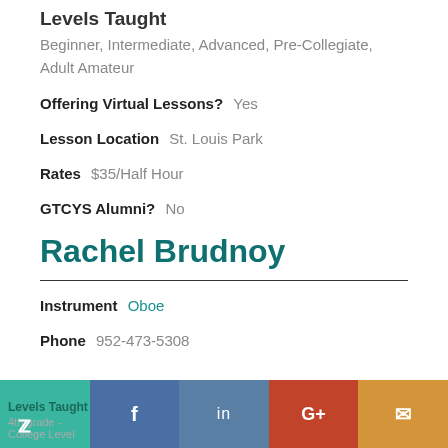Levels Taught
Beginner, Intermediate, Advanced, Pre-Collegiate, Adult Amateur
Offering Virtual Lessons?  Yes
Lesson Location  St. Louis Park
Rates  $35/Half Hour
GTCYS Alumni?  No
Rachel Brudnoy
Instrument  Oboe
Phone  952-473-5308
Levels Taught
4th grade - College Level